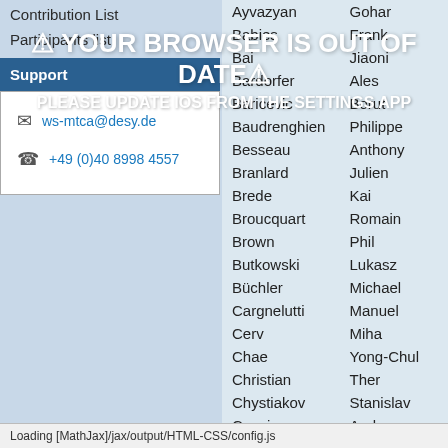Contribution List
Participants list
Support
ws-mtca@desy.de
+49 (0)40 8998 4557
| Last Name | First Name |
| --- | --- |
| Ayvazyan | Gohar |
| Babies | Frank |
| Bai | Jiaoni |
| Bardorfer | Ales |
| Baricevic | Borut |
| Baudrenghien | Philippe |
| Besseau | Anthony |
| Branlard | Julien |
| Brede | Kai |
| Broucquart | Romain |
| Brown | Phil |
| Butkowski | Lukasz |
| Büchler | Michael |
| Cargnelutti | Manuel |
| Cerv | Miha |
| Chae | Yong-Chul |
| Christian | Ther |
| Chystiakov | Stanislav |
| Cousins | Andrew |
| ... | Robin |
Loading [MathJax]/jax/output/HTML-CSS/config.js